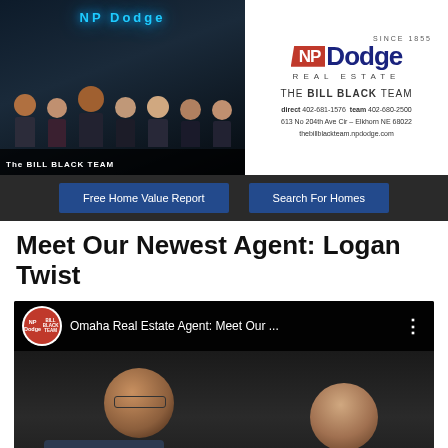[Figure (photo): Team photo of The Bill Black Team in front of NP Dodge office at night with blue neon signage]
[Figure (logo): NP Dodge Real Estate logo with 'SINCE 1855', The Bill Black Team branding, contact info: direct 402-681-1576, team 402-680-2500, 613 No 204th Ave Cir - Elkhorn NE 68022, thebillblackteam.npdodge.com]
Free Home Value Report
Search For Homes
Meet Our Newest Agent: Logan Twist
[Figure (screenshot): YouTube video thumbnail showing 'Omaha Real Estate Agent: Meet Our ...' with NP Dodge Bill Black Team logo and two men seated across from each other]